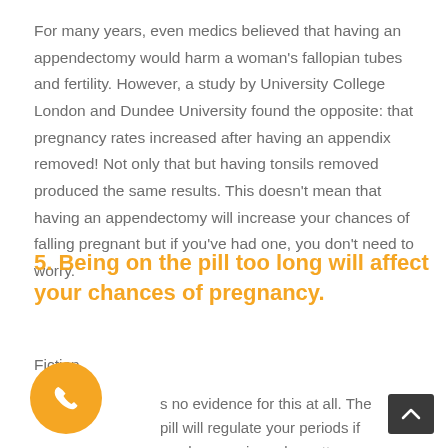For many years, even medics believed that having an appendectomy would harm a woman's fallopian tubes and fertility. However, a study by University College London and Dundee University found the opposite: that pregnancy rates increased after having an appendix removed! Not only that but having tonsils removed produced the same results. This doesn't mean that having an appendectomy will increase your chances of falling pregnant but if you've had one, you don't need to worry.
5. Being on the pill too long will affect your chances of pregnancy.
Fiction.
s no evidence for this at all. The pill will regulate your periods if you have an irregular pattern, so once you